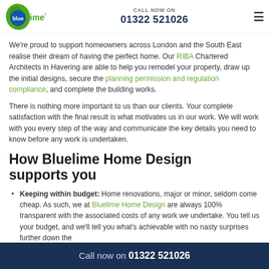Bluelime Home Design - CALL NOW ON 01322 521026
We're proud to support homeowners across London and the South East realise their dream of having the perfect home. Our RIBA Chartered Architects in Havering are able to help you remodel your property, draw up the initial designs, secure the planning permission and regulation compliance, and complete the building works.
There is nothing more important to us than our clients. Your complete satisfaction with the final result is what motivates us in our work. We will work with you every step of the way and communicate the key details you need to know before any work is undertaken.
How Bluelime Home Design supports you
Keeping within budget: Home renovations, major or minor, seldom come cheap. As such, we at Bluelime Home Design are always 100% transparent with the associated costs of any work we undertake. You tell us your budget, and we'll tell you what's achievable with no nasty surprises further down the
Call now on 01322 521026